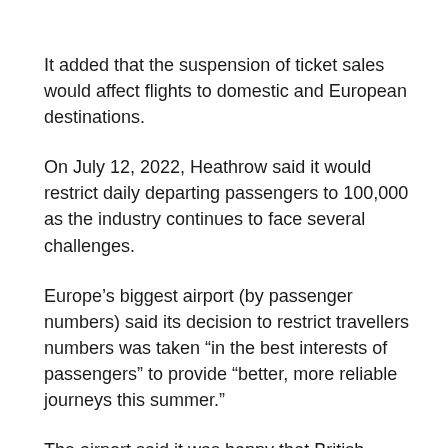It added that the suspension of ticket sales would affect flights to domestic and European destinations.
On July 12, 2022, Heathrow said it would restrict daily departing passengers to 100,000 as the industry continues to face several challenges.
Europe’s biggest airport (by passenger numbers) said its decision to restrict travellers numbers was taken “in the best interests of passengers” to provide “better, more reliable journeys this summer.”
The airport said it was happy that British Airways, its biggest airline, followed the request.
“We are pleased to see action from British Airways, acting